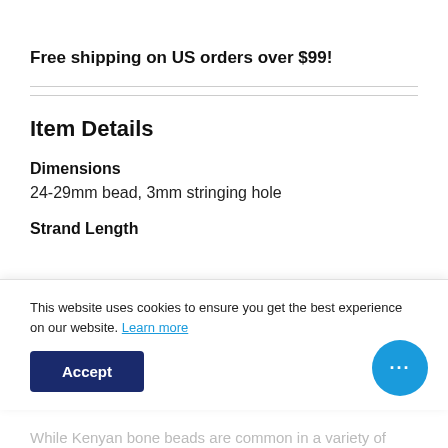Free shipping on US orders over $99!
Item Details
Dimensions
24-29mm bead, 3mm stringing hole
Strand Length
This website uses cookies to ensure you get the best experience on our website. Learn more
While Kenyan bone beads are common in a variety of